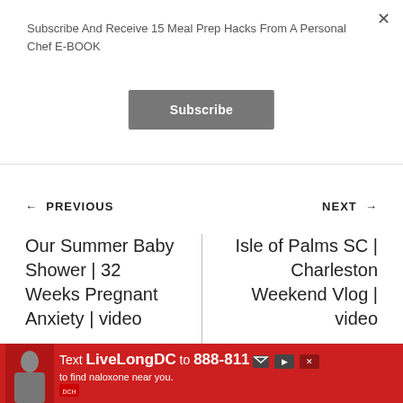Subscribe And Receive 15 Meal Prep Hacks From A Personal Chef E-BOOK
Subscribe
← PREVIOUS
NEXT →
Our Summer Baby Shower | 32 Weeks Pregnant Anxiety | video
Isle of Palms SC | Charleston Weekend Vlog | video
[Figure (infographic): Red advertisement banner at bottom: Text LiveLongDC to 888-811 to find naloxone near you.]